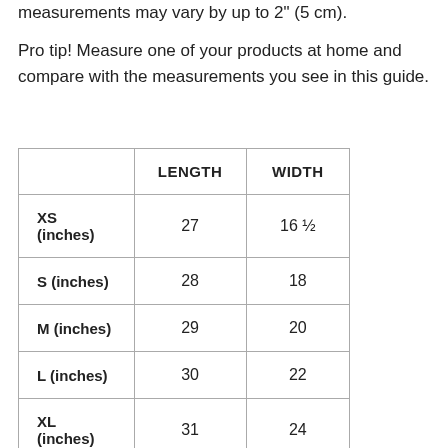measurements may vary by up to 2" (5 cm).
Pro tip! Measure one of your products at home and compare with the measurements you see in this guide.
|  | LENGTH | WIDTH |
| --- | --- | --- |
| XS (inches) | 27 | 16 ½ |
| S (inches) | 28 | 18 |
| M (inches) | 29 | 20 |
| L (inches) | 30 | 22 |
| XL (inches) | 31 | 24 |
|  |  |  |